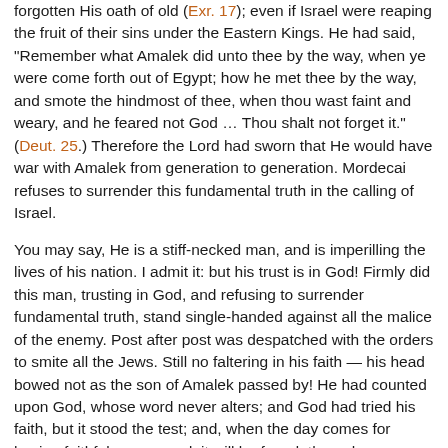forgotten His oath of old (Exr. 17); even if Israel were reaping the fruit of their sins under the Eastern Kings. He had said, "Remember what Amalek did unto thee by the way, when ye were come forth out of Egypt; how he met thee by the way, and smote the hindmost of thee, when thou wast faint and weary, and he feared not God … Thou shalt not forget it." (Deut. 25.) Therefore the Lord had sworn that He would have war with Amalek from generation to generation. Mordecai refuses to surrender this fundamental truth in the calling of Israel.
You may say, He is a stiff-necked man, and is imperilling the lives of his nation. I admit it: but his trust is in God! Firmly did this man, trusting in God, and refusing to surrender fundamental truth, stand single-handed against all the malice of the enemy. Post after post was despatched with the orders to smite all the Jews. Still no faltering in his faith — his head bowed not as the son of Amalek passed by! He had counted upon God, whose word never alters; and God had tried his faith, but it stood the test; and, when the day comes for having faithfulness owned, it will be found, through grace, that Mordecai had had an opportunity for faithfulness to the Lord — that he had stood firm, and God has not forgotten it.
What cheer of heart his story must afford to those whose path is isolated; when they have not even one faithful